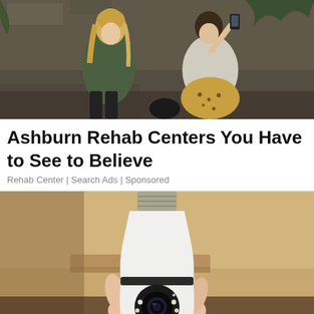[Figure (photo): Two young women posing outdoors at night against a weathered wall, one in a green jacket taking a selfie]
Ashburn Rehab Centers You Have to See to Believe
Rehab Center | Search Ads | Sponsored
[Figure (photo): A hand holding a white light-bulb shaped security camera device with a lens and LED ring, photographed indoors]